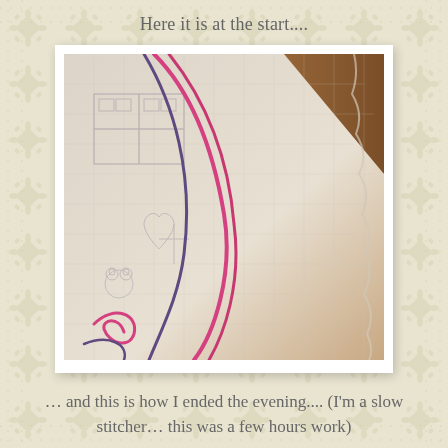Here it is at the start....
[Figure (photo): A piece of white linen fabric laid on a wooden surface, with embroidery transfer patterns visible and pink/purple thread loosely laid on top, showing the very beginning stage of an embroidery project.]
… and this is how I ended the evening.... (I'm a slow stitcher… this was a few hours work)